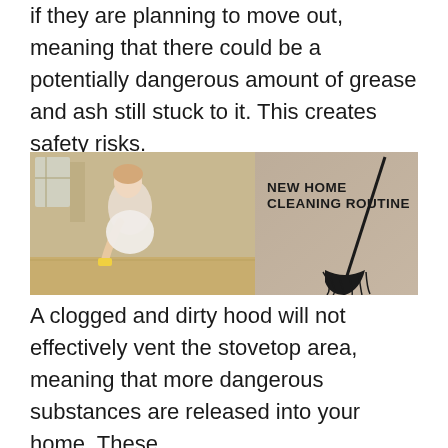if they are planning to move out, meaning that there could be a potentially dangerous amount of grease and ash still stuck to it. This creates safety risks.
[Figure (photo): A woman cleaning a floor while leaning forward, with text overlay reading 'NEW HOME CLEANING ROUTINE' and a broom silhouette on the right side of the image.]
A clogged and dirty hood will not effectively vent the stovetop area, meaning that more dangerous substances are released into your home. These